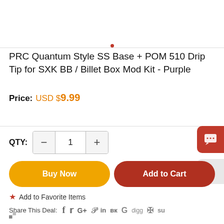[Figure (other): Small red dot indicator near top center]
PRC Quantum Style SS Base + POM 510 Drip Tip for SXK BB / Billet Box Mod Kit - Purple
Price: USD $9.99
QTY: - 1 +
Buy Now
Add to Cart
★ Add to Favorite Items
Share This Deal: f ✓ G+ P in VK G digg ∂ su